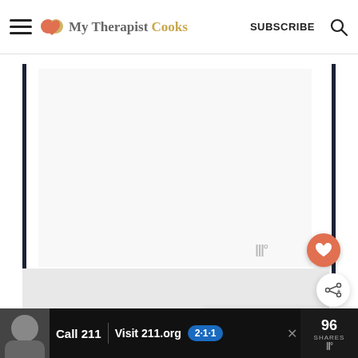My Therapist Cooks | SUBSCRIBE
[Figure (screenshot): Recipe image placeholder area with white/light gray background and watermark logo, with a heart (favorite) button overlay and share button below]
NOTES
[Figure (infographic): What's Next panel showing a circular food thumbnail and text 'WHAT'S NEXT → Healthy Vegetarian...']
[Figure (infographic): Advertisement banner at bottom: photo of person, 'Call 211 | Visit 211.org' with blue 2-1-1 badge, close button, and share/count area on right]